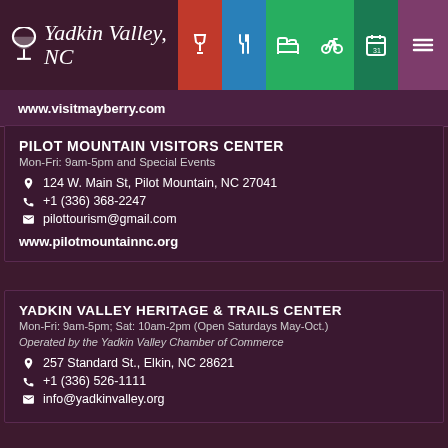Yadkin Valley, NC — navigation header with wine, food, lodging, biking, calendar, and menu icons
www.visitmayberry.com
PILOT MOUNTAIN VISITORS CENTER
Mon-Fri: 9am-5pm and Special Events
124 W. Main St, Pilot Mountain, NC 27041
+1 (336) 368-2247
pilottourism@gmail.com
www.pilotmountainnc.org
YADKIN VALLEY HERITAGE & TRAILS CENTER
Mon-Fri: 9am-5pm; Sat: 10am-2pm (Open Saturdays May-Oct.)
Operated by the Yadkin Valley Chamber of Commerce
257 Standard St., Elkin, NC 28621
+1 (336) 526-1111
info@yadkinvalley.org